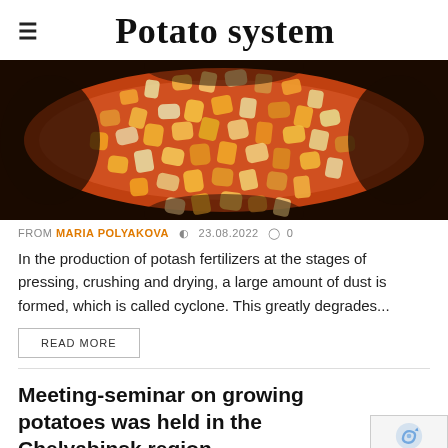Potato system
[Figure (photo): Close-up photo of orange and yellow crystalline potash fertilizer granules against a dark background]
FROM MARIA POLYAKOVA  23.08.2022  0
In the production of potash fertilizers at the stages of pressing, crushing and drying, a large amount of dust is formed, which is called cyclone. This greatly degrades...
READ MORE
Meeting-seminar on growing potatoes was held in the Chelyabinsk region